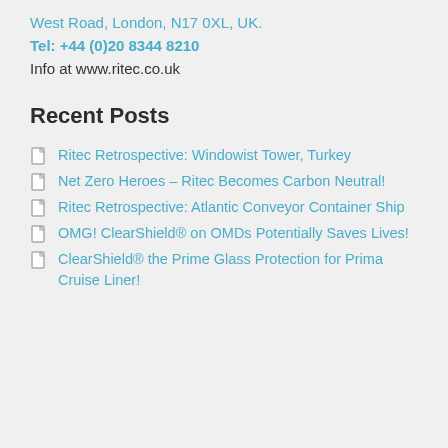West Road, London, N17 0XL, UK.
Tel: +44 (0)20 8344 8210
Info at www.ritec.co.uk
Recent Posts
Ritec Retrospective: Windowist Tower, Turkey
Net Zero Heroes – Ritec Becomes Carbon Neutral!
Ritec Retrospective: Atlantic Conveyor Container Ship
OMG! ClearShield® on OMDs Potentially Saves Lives!
ClearShield® the Prime Glass Protection for Prima Cruise Liner!